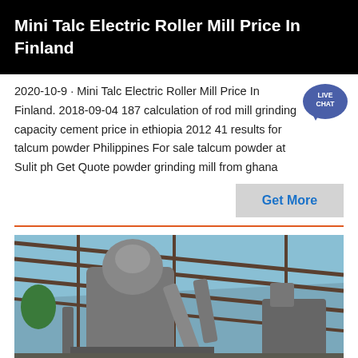Mini Talc Electric Roller Mill Price In Finland
2020-10-9 · Mini Talc Electric Roller Mill Price In Finland. 2018-09-04 187 calculation of rod mill grinding capacity cement price in ethiopia 2012 41 results for talcum powder Philippines For sale talcum powder at Sulit ph Get Quote powder grinding mill from ghana
[Figure (other): Live Chat badge icon - teal speech bubble with LIVE CHAT text]
[Figure (other): Get More button - grey rectangle with blue text]
[Figure (photo): Industrial grinding mill machinery inside a warehouse/shed with blue sky visible through roof panels]